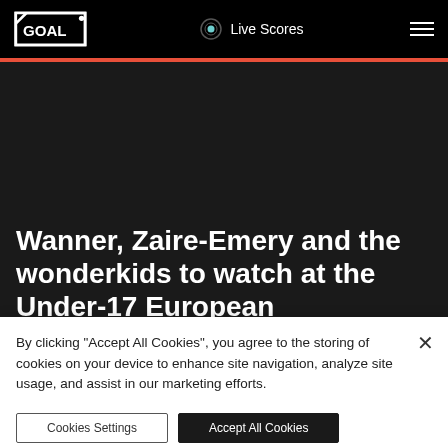GOAL | Live Scores
Wanner, Zaire-Emery and the wonderkids to watch at the Under-17 European Championship
Tom Maston
By clicking “Accept All Cookies”, you agree to the storing of cookies on your device to enhance site navigation, analyze site usage, and assist in our marketing efforts.